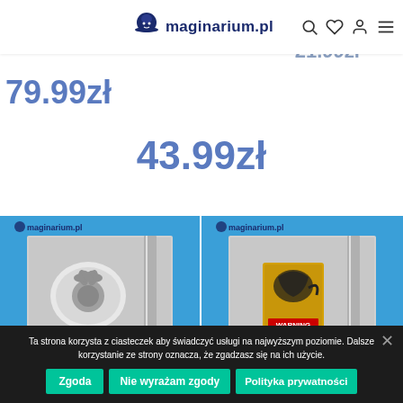maginarium.pl
29.99
Alien
21.99zł —
79.99zł
43.99zł
[Figure (photo): Product photo: metallic decorative pin/badge on silver background with blue backdrop, maginarium.pl watermark]
[Figure (photo): Product photo: yellow WARNING sign with dragon illustration on silver background with blue backdrop, maginarium.pl watermark]
We use cookies on our website to give you the most
Ta strona korzysta z ciasteczek aby świadczyć usługi na najwyższym poziomie. Dalsze korzystanie ze strony oznacza, że zgadzasz się na ich użycie.
Zgoda
Nie wyrażam zgody
Polityka prywatności